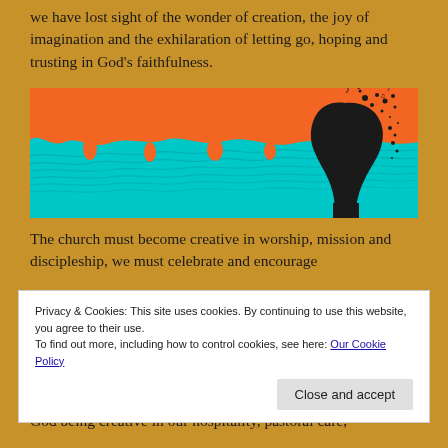we have lost sight of the wonder of creation, the joy of imagination and the exhilaration of letting go, hoping and trusting in God's faithfulness.
[Figure (illustration): Artistic image with orange upper half dripping into teal/cyan lower half (water texture), with a black silhouette of a human head on the right side appearing to fragment/dissolve into musical notes and particles.]
The church must become creative in worship, mission and discipleship, we must celebrate and encourage
Privacy & Cookies: This site uses cookies. By continuing to use this website, you agree to their use.
To find out more, including how to control cookies, see here: Our Cookie Policy
God being creative in our hospitality, pastoral care,